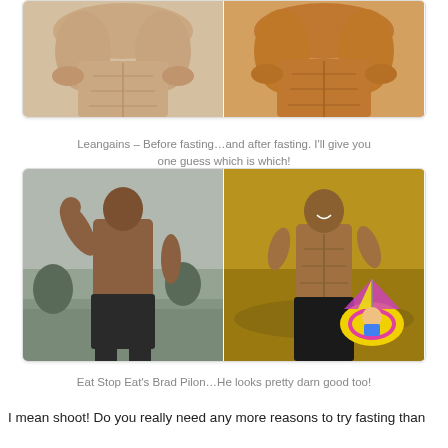[Figure (photo): Two side-by-side bodybuilder torso photos — before fasting (left, lighter skin tone) and after fasting (right, more tanned/orange skin tone). Cropped at top.]
Leangains – Before fasting…and after fasting. I'll give you one guess which is which!
[Figure (photo): Two side-by-side photos of Brad Pilon: left photo shows a shirtless man flexing one arm against a misty outdoor background; right photo shows the same man smiling in water holding a baby in a colorful float ring.]
Eat Stop Eat's Brad Pilon…He looks pretty darn good too!
I mean shoot! Do you really need any more reasons to try fasting than